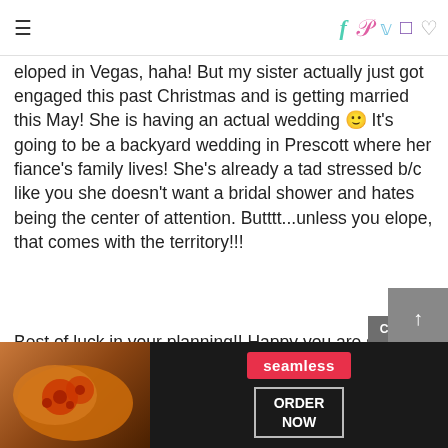≡ [social icons: f, p, t, instagram, heart]
eloped in Vegas, haha! But my sister actually just got engaged this past Christmas and is getting married this May! She is having an actual wedding 🙂 It's going to be a backyard wedding in Prescott where her fiance's family lives! She's already a tad stressed b/c like you she doesn't want a bridal shower and hates being the center of attention. Butttt...unless you elope, that comes with the territory!!!
Best of luck in your planning!! Happy you are sharing it on the blog!!
[Figure (screenshot): Seamless food delivery ad banner with pizza image, Seamless logo in red, and ORDER NOW button]